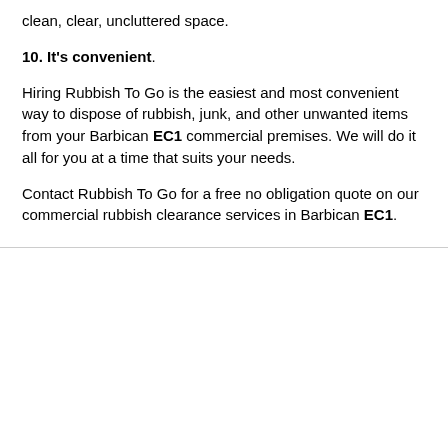clean, clear, uncluttered space.
10. It's convenient.
Hiring Rubbish To Go is the easiest and most convenient way to dispose of rubbish, junk, and other unwanted items from your Barbican EC1 commercial premises. We will do it all for you at a time that suits your needs.
Contact Rubbish To Go for a free no obligation quote on our commercial rubbish clearance services in Barbican EC1.